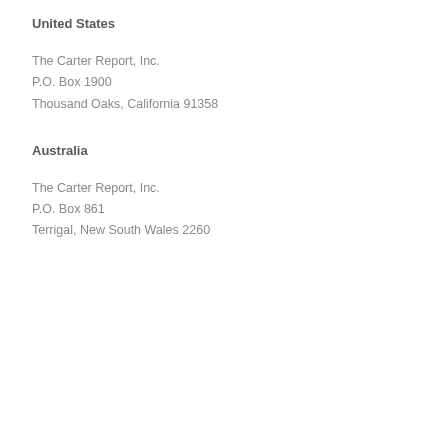United States
The Carter Report, Inc.
P.O. Box 1900
Thousand Oaks, California 91358
Australia
The Carter Report, Inc.
P.O. Box 861
Terrigal, New South Wales 2260